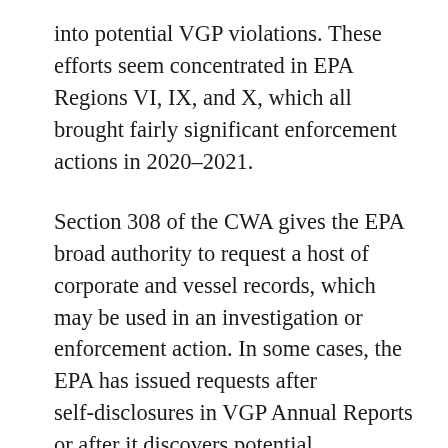into potential VGP violations. These efforts seem concentrated in EPA Regions VI, IX, and X, which all brought fairly significant enforcement actions in 2020–2021.
Section 308 of the CWA gives the EPA broad authority to request a host of corporate and vessel records, which may be used in an investigation or enforcement action. In some cases, the EPA has issued requests after self-disclosures in VGP Annual Reports or after it discovers potential non-compliances during a vessel inspection, seeking to find proof of a violation or additional violations beyond what it already has discovered. In particular, we are aware of companies that have received record